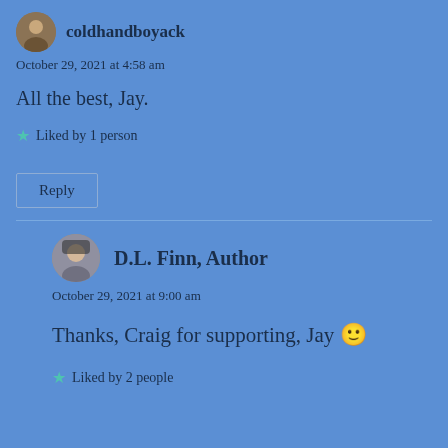coldhandboyack
October 29, 2021 at 4:58 am
All the best, Jay.
Liked by 1 person
Reply
D.L. Finn, Author
October 29, 2021 at 9:00 am
Thanks, Craig for supporting, Jay 🙂
Liked by 2 people